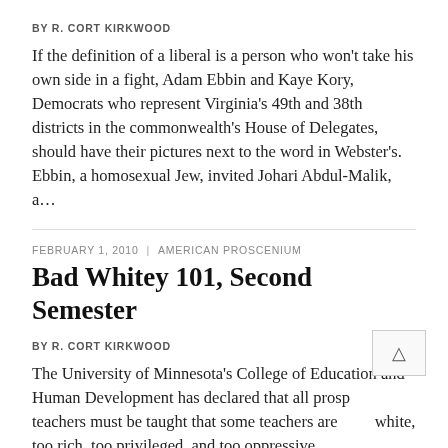BY R. CORT KIRKWOOD
If the definition of a liberal is a person who won't take his own side in a fight, Adam Ebbin and Kaye Kory, Democrats who represent Virginia's 49th and 38th districts in the commonwealth's House of Delegates, should have their pictures next to the word in Webster's. Ebbin, a homosexual Jew, invited Johari Abdul-Malik, a…
FEBRUARY 1, 2010  |  AMERICAN PROSCENIUM
Bad Whitey 101, Second Semester
BY R. CORT KIRKWOOD
The University of Minnesota's College of Education and Human Development has declared that all prospective teachers must be taught that some teachers are white, too rich, too privileged, and too oppressive. This announcement recalls the shenanigans at the University of Delaware, reported in these pages last